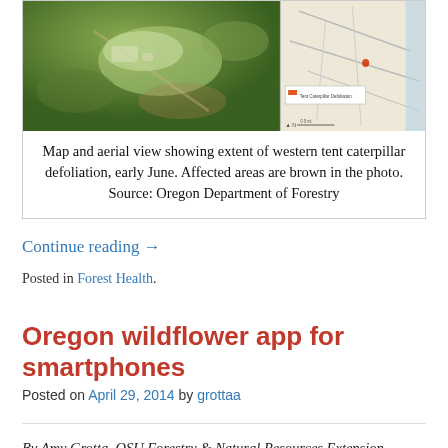[Figure (photo): Aerial photo (left) showing forested area with defoliation (brown areas), and a map (right) showing extent of western tent caterpillar defoliation, early June. Source: Oregon Department of Forestry]
Map and aerial view showing extent of western tent caterpillar defoliation, early June. Affected areas are brown in the photo. Source: Oregon Department of Forestry
Continue reading →
Posted in Forest Health.
Oregon wildflower app for smartphones
Posted on April 29, 2014 by grottaa
By Amy Grotta, OSU Forestry & Natural Resources Extension – Columbia, Washington & Yamhill Counties